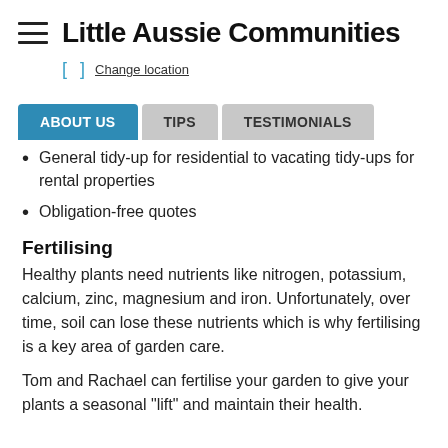Little Aussie Communities
[ ]  Change location
ABOUT US  TIPS  TESTIMONIALS
General tidy-up for residential to vacating tidy-ups for rental properties
Obligation-free quotes
Fertilising
Healthy plants need nutrients like nitrogen, potassium, calcium, zinc, magnesium and iron. Unfortunately, over time, soil can lose these nutrients which is why fertilising is a key area of garden care.
Tom and Rachael can fertilise your garden to give your plants a seasonal "lift" and maintain their health.